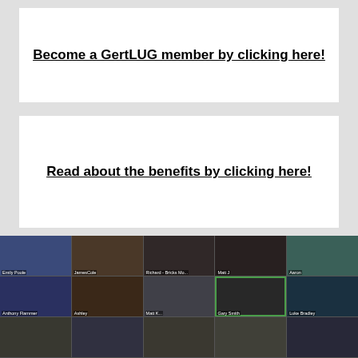Become a GertLUG member by clicking here!
Read about the benefits by clicking here!
Already a member? Login by clicking here!
[Figure (photo): A screenshot of a video call showing multiple participants in a grid layout. Visible participants include Emily Poole, JamesCole, Richard - Bricks Mo..., Matt J, Aaron, Anthony Flammer, Ashley, Matt K..., Gary Smith (highlighted with green border), Luke Bradley, and others in bottom row.]